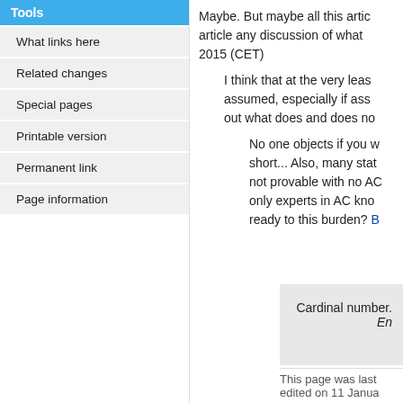Tools
What links here
Related changes
Special pages
Printable version
Permanent link
Page information
Maybe. But maybe all this article any discussion of what 2015 (CET)
I think that at the very least assumed, especially if ass out what does and does no
No one objects if you w short... Also, many stat not provable with no AC only experts in AC know ready to this burden? B
Cardinal number. En
This page was last edited on 11 Janua